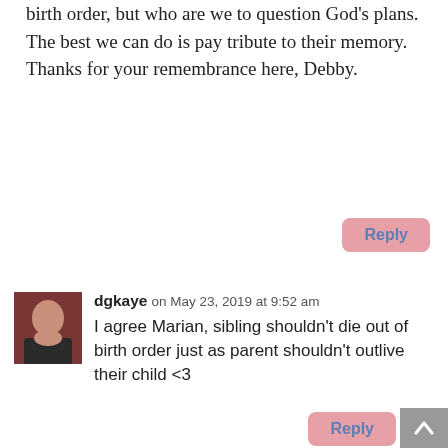birth order, but who are we to question God's plans. The best we can do is pay tribute to their memory. Thanks for your remembrance here, Debby.
Reply
dgkaye on May 23, 2019 at 9:52 am
I agree Marian, sibling shouldn't die out of birth order just as parent shouldn't outlive their child <3
Reply
MarianBeaman on May 23, 2019 at 5:03 pm
Exactly! But, sadly, it happens . . .